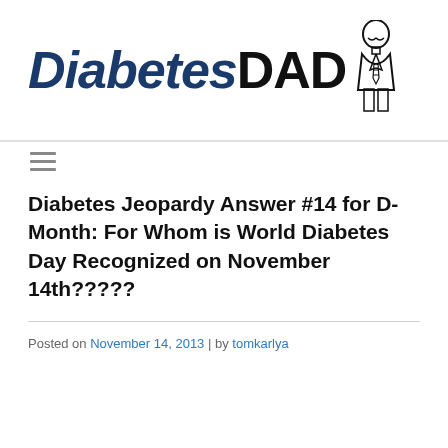DiabetesDAD
Diabetes Jeopardy Answer #14 for D-Month: For Whom is World Diabetes Day Recognized on November 14th?????
Posted on November 14, 2013 | by tomkarlya